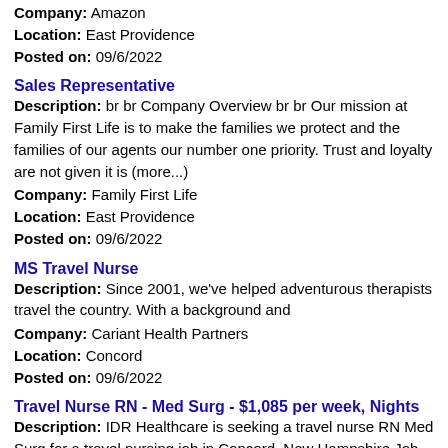Company: Amazon
Location: East Providence
Posted on: 09/6/2022
Sales Representative
Description: br br Company Overview br br Our mission at Family First Life is to make the families we protect and the families of our agents our number one priority. Trust and loyalty are not given it is (more...)
Company: Family First Life
Location: East Providence
Posted on: 09/6/2022
MS Travel Nurse
Description: Since 2001, we've helped adventurous therapists travel the country. With a background and
Company: Cariant Health Partners
Location: Concord
Posted on: 09/6/2022
Travel Nurse RN - Med Surg - $1,085 per week, Nights
Description: IDR Healthcare is seeking a travel nurse RN Med Surg for a travel nursing job in Concord, New Hampshire.Job Description Requirements ul li Specialty: Med Surg li Discipline: RN li